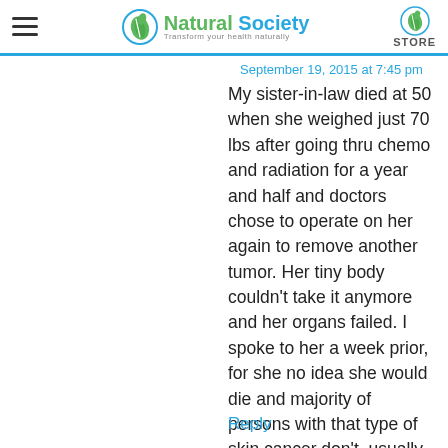Natural Society — Transform your health naturally
September 19, 2015 at 7:45 pm
My sister-in-law died at 50 when she weighed just 70 lbs after going thru chemo and radiation for a year and half and doctors chose to operate on her again to remove another tumor. Her tiny body couldn't take it anymore and her organs failed. I spoke to her a week prior, for she no idea she would die and majority of persons with that type of skin cancer don't, usually only the frail elderly. This was a senseless operation and death of still a young woman who was recovering before they operated again. She left behind two children.
Reply